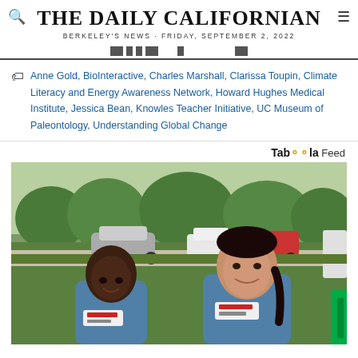THE DAILY CALIFORNIAN
BERKELEY'S NEWS · FRIDAY, SEPTEMBER 2, 2022
Anne Gold, BioInteractive, Charles Marshall, Clarissa Toupin, Climate Literacy and Energy Awareness Network, Howard Hughes Medical Institute, Jessica Bean, Knowles Teacher Initiative, UC Museum of Paleontology, Understanding Global Change
Taboola Feed
[Figure (photo): Two women wearing blue uniforms smiling outdoors in a suburban setting with cars and trees in the background.]